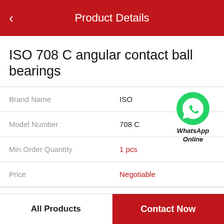Product Details
ISO 708 C angular contact ball bearings
| Field | Value |
| --- | --- |
| Brand Name | ISO |
| Model Number | 708 C |
| Min.Order Quantity | 1 pcs |
| Price | Negotiable |
[Figure (logo): WhatsApp Online green circle icon with phone handset, labeled WhatsApp Online]
Product Features
All Products  |  Contact Now